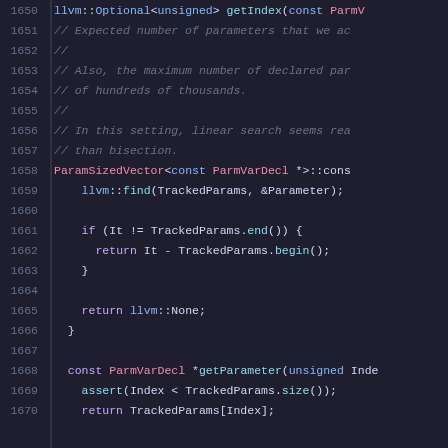Source code listing, lines 1650-1670, showing C++ code with llvm::Optional getIndex function and getParameter function with comments about parameter search strategy.